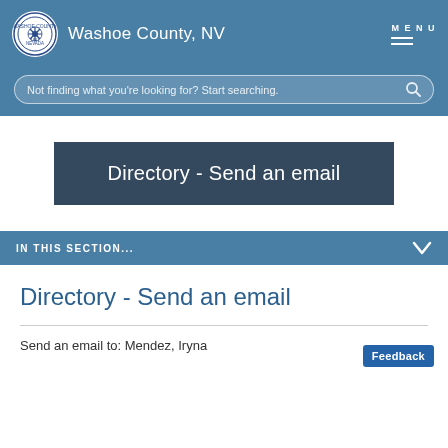Washoe County, NV
Not finding what you're looking for? Start searching.
Directory - Send an email
IN THIS SECTION...
Directory - Send an email
Send an email to: Mendez, Iryna